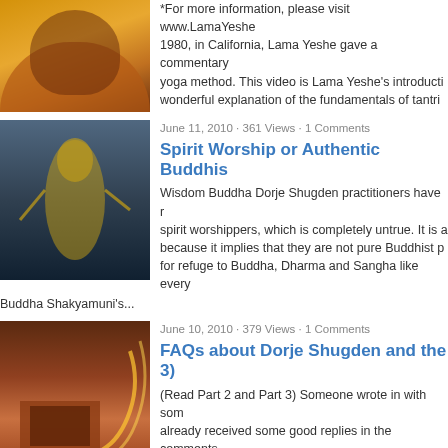*For more information, please visit www.LamaYeshe... 1980, in California, Lama Yeshe gave a commentary... yoga method. This video is Lama Yeshe's introducti... wonderful explanation of the fundamentals of tantri...
June 11, 2010 · 361 Views · 1 Comments
Spirit Worship or Authentic Buddhis...
Wisdom Buddha Dorje Shugden practitioners have r... spirit worshippers, which is completely untrue. It is a... because it implies that they are not pure Buddhist p... for refuge to Buddha, Dharma and Sangha like every... Buddha Shakyamuni's...
June 10, 2010 · 379 Views · 1 Comments
FAQs about Dorje Shugden and the... 3)
(Read Part 2 and Part 3) Someone wrote in with som... already received some good replies in the comments... Westerners (see article below, Dalai Lama Demonstration Down Under). I though... replies here, courtesy of Lineageholder, in the hope that these will clarify...
March 6, 2010 · 313 Views · 5 Comments
The Way to Rely Upon Dorje Shuge...
There are two ways to rely upon Dorje Shugden: in th... that Dorje Shugden is the embodiment of the Three... in protecting and preserving the Buddhadharma i...